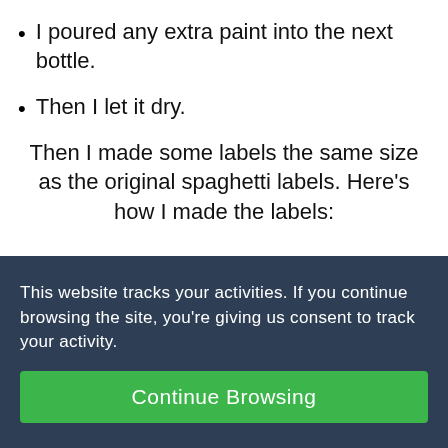I poured any extra paint into the next bottle.
Then I let it dry.
Then I made some labels the same size as the original spaghetti labels. Here's how I made the labels:
This website tracks your activities. If you continue browsing the site, you're giving us consent to track your activity.
Continue Browsing